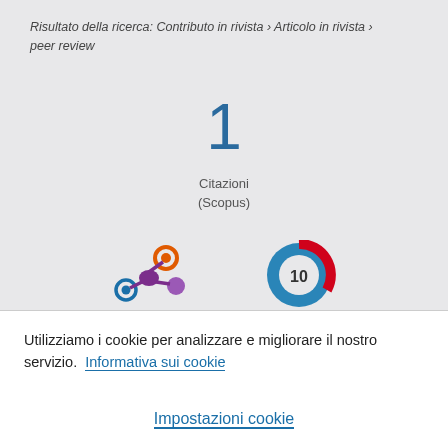Risultato della ricerca: Contributo in rivista › Articolo in rivista › peer review
1
Citazioni
(Scopus)
[Figure (other): Altmetric snowflake icon with orange, blue, and purple circles]
[Figure (other): Scopus badge showing number 10 with circular blue and red graphic]
Utilizziamo i cookie per analizzare e migliorare il nostro servizio.  Informativa sui cookie
Impostazioni cookie